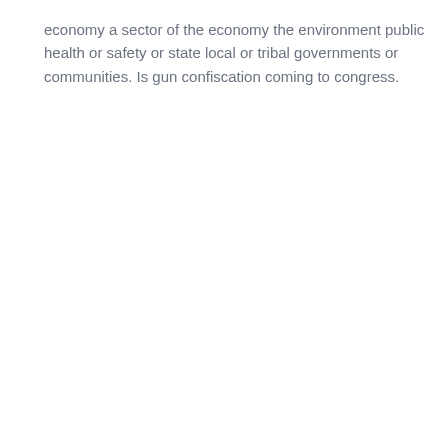economy a sector of the economy the environment public health or safety or state local or tribal governments or communities. Is gun confiscation coming to congress.